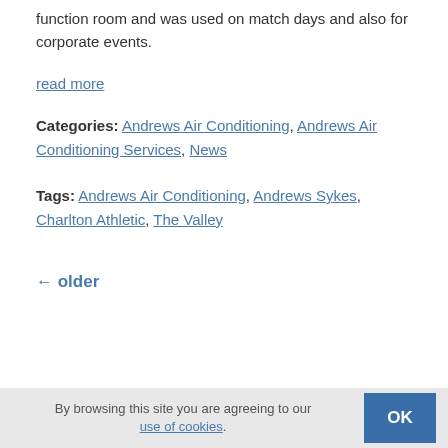function room and was used on match days and also for corporate events.
read more
Categories: Andrews Air Conditioning, Andrews Air Conditioning Services, News
Tags: Andrews Air Conditioning, Andrews Sykes, Charlton Athletic, The Valley
← older
By browsing this site you are agreeing to our use of cookies. OK